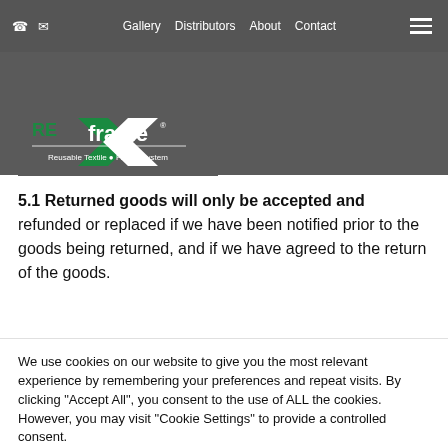Gallery  Distributors  About  Contact
not pay the quoted delivery cost. Any cancelled orders will be subject to a full refund if payment has been made.
[Figure (logo): REXframe logo — Reusable Textile Frame System — green and white logo on dark background]
5.1 Returned goods will only be accepted and refunded or replaced if we have been notified prior to the goods being returned, and if we have agreed to the return of the goods.
We use cookies on our website to give you the most relevant experience by remembering your preferences and repeat visits. By clicking “Accept All”, you consent to the use of ALL the cookies. However, you may visit "Cookie Settings" to provide a controlled consent.
Cookie Settings  Accept All